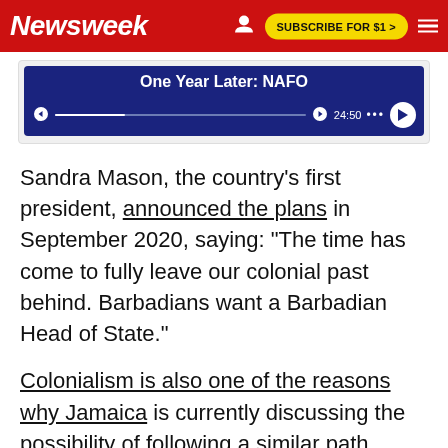Newsweek | SUBSCRIBE FOR $1 >
[Figure (screenshot): A media player UI with dark navy background showing 'One Year Later: NAFO' title text, playback controls including skip back 15s, progress bar, skip forward 15s, time display 24:50, a dots menu, and a circular play button on the right.]
Sandra Mason, the country's first president, announced the plans in September 2020, saying: "The time has come to fully leave our colonial past behind. Barbadians want a Barbadian Head of State."
Colonialism is also one of the reasons why Jamaica is currently discussing the possibility of following a similar path.